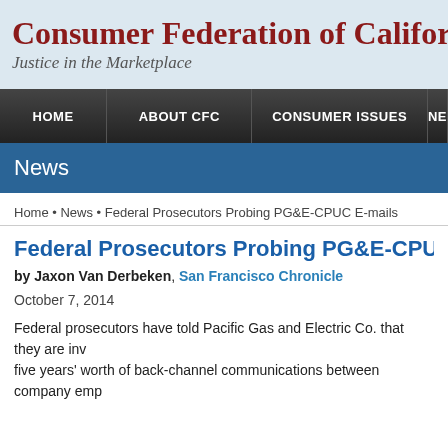Consumer Federation of California
Justice in the Marketplace
HOME | ABOUT CFC | CONSUMER ISSUES | NE
News
Home • News • Federal Prosecutors Probing PG&E-CPUC E-mails
Federal Prosecutors Probing PG&E-CPUC E-ma
by Jaxon Van Derbeken, San Francisco Chronicle
October 7, 2014
Federal prosecutors have told Pacific Gas and Electric Co. that they are investigating five years' worth of back-channel communications between company employees